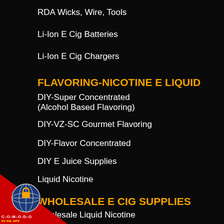RDA Wicks, Wire, Tools
Li-Ion E Cig Batteries
Li-Ion E Cig Chargers
FLAVORING-NICOTINE E LIQUID
DIY-Super Concentrated (Alcohol Based Flavoring)
DIY-VZ-SC Gourmet Flavoring
DIY-Flavor Concentrated
DIY E Juice Supplies
Liquid Nicotine
WHOLESALE E CIG SUPPLIES
Wholesale Liquid Nicotine
V - SC Vape Flavoring
E COILS
[Figure (logo): Comodo EV SSL Site badge with globe icon and red triangle background in bottom-left corner]